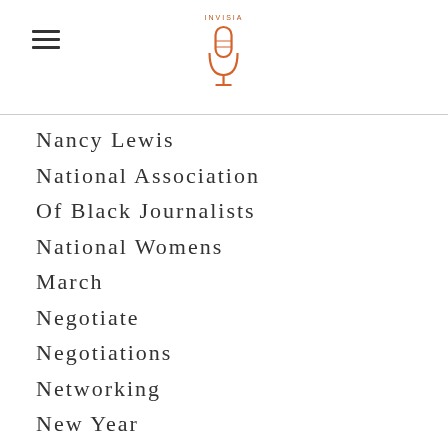INVISIA (logo with microphone icon)
Nancy Lewis
National Association
Of Black Journalists
National Womens
March
Negotiate
Negotiations
Networking
New Year
New Years Eve
New Year's
Resolution